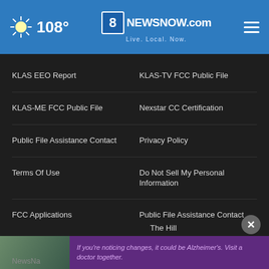108° 8NewsNow.com Live. Local. Now.
KLAS EEO Report
KLAS-TV FCC Public File
KLAS-ME FCC Public File
Nexstar CC Certification
Public File Assistance Contact
Privacy Policy
Terms Of Use
Do Not Sell My Personal Information
FCC Applications
Public File Assistance Contact
The Hill
NewsNa
If you're noticing changes, it could be Alzheimer's. Visit a doctor together.